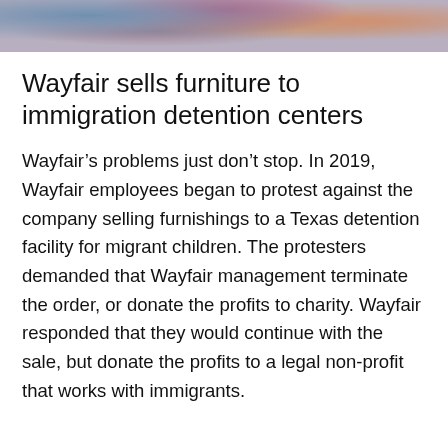[Figure (photo): Cropped photo strip at top of page showing a crowd of people, partially visible]
Wayfair sells furniture to immigration detention centers
Wayfair's problems just don't stop. In 2019, Wayfair employees began to protest against the company selling furnishings to a Texas detention facility for migrant children. The protesters demanded that Wayfair management terminate the order, or donate the profits to charity. Wayfair responded that they would continue with the sale, but donate the profits to a legal non-profit that works with immigrants.